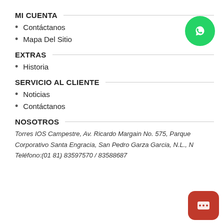MI CUENTA
Contáctanos
Mapa Del Sitio
[Figure (logo): WhatsApp green circular button with WhatsApp icon]
EXTRAS
Historia
SERVICIO AL CLIENTE
Noticias
Contáctanos
NOSOTROS
Torres IOS Campestre, Av. Ricardo Margain No. 575, Parque Corporativo Santa Engracia, San Pedro Garza Garcia, N.L., N
Teléfono:(01 81) 83597570 / 83588687
[Figure (logo): Red rounded square chat/messaging button with speech bubble dots icon]